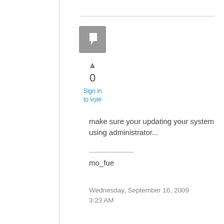[Figure (logo): Gray square avatar icon with a chat/flag mark inside]
▲
0
Sign in to vote
make sure your updating your system using administrator...
mo_fue
Wednesday, September 16, 2009 3:23 AM